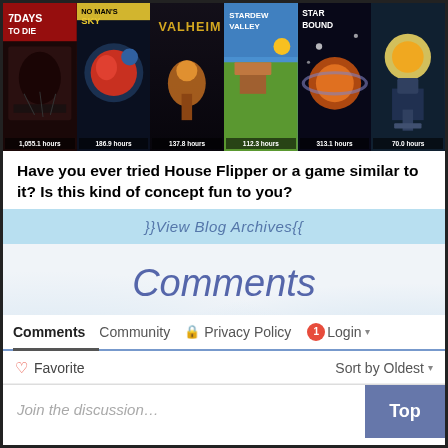[Figure (screenshot): Horizontal strip of six game cover images: 7 Days to Die (1,055.1 hours), No Man's Sky (186.9 hours), Valheim (137.8 hours), Stardew Valley (112.3 hours), Starbound (313.1 hours), and a sixth game (70.0 hours)]
Have you ever tried House Flipper or a game similar to it? Is this kind of concept fun to you?
}}View Blog Archives{{
Comments
Comments  Community  🔒 Privacy Policy  1  Login
♥ Favorite  Sort by Oldest
Join the discussion…  Top
LOG IN WITH